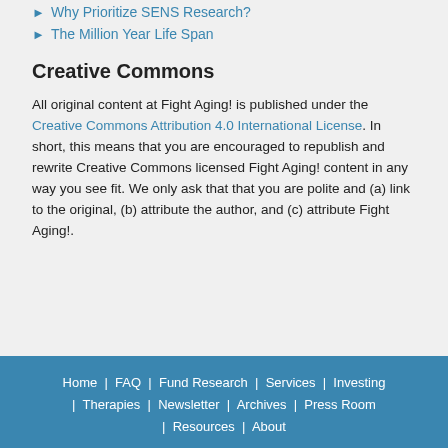Why Prioritize SENS Research?
The Million Year Life Span
Creative Commons
All original content at Fight Aging! is published under the Creative Commons Attribution 4.0 International License. In short, this means that you are encouraged to republish and rewrite Creative Commons licensed Fight Aging! content in any way you see fit. We only ask that that you are polite and (a) link to the original, (b) attribute the author, and (c) attribute Fight Aging!.
Home | FAQ | Fund Research | Services | Investing | Therapies | Newsletter | Archives | Press Room | Resources | About